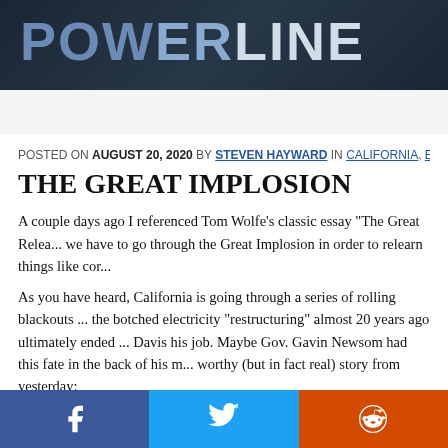POWERLINE
HOME  LIVE  ABOUT US  NEWS EVENTS  SERIES
POSTED ON AUGUST 20, 2020 BY STEVEN HAYWARD IN CALIFORNIA, ENERG...
THE GREAT IMPLOSION
A couple days ago I referenced Tom Wolfe's classic essay “The Great Relea... we have to go through the Great Implosion in order to relearn things like cor...
As you have heard, California is going through a series of rolling blackouts ... the botched electricity “restructuring” almost 20 years ago ultimately ended ... Davis his job. Maybe Gov. Gavin Newsom had this fate in the back of his m... worthy (but in fact real) story from yesterday:
California governor demands probe of power blackouts